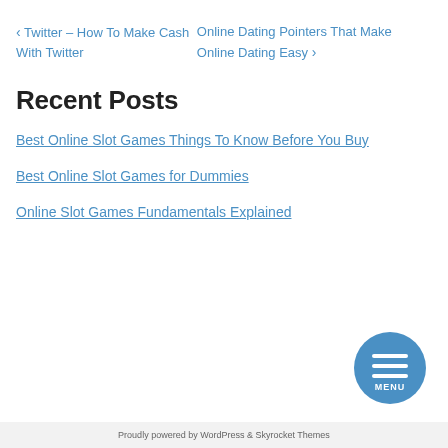‹ Twitter – How To Make Cash With Twitter
Online Dating Pointers That Make Online Dating Easy ›
Recent Posts
Best Online Slot Games Things To Know Before You Buy
Best Online Slot Games for Dummies
Online Slot Games Fundamentals Explained
[Figure (other): Circular blue menu button with three horizontal lines and MENU text]
Proudly powered by WordPress & Skyrocket Themes